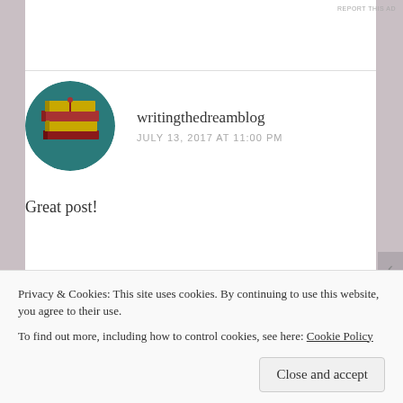REPORT THIS AD
[Figure (photo): Circular avatar photo of stacked books with red and gold covers on a dark teal background]
writingthedreamblog
JULY 13, 2017 AT 11:00 PM
Great post!
Liked by 1 person
Reply
Privacy & Cookies: This site uses cookies. By continuing to use this website, you agree to their use.
To find out more, including how to control cookies, see here: Cookie Policy
Close and accept